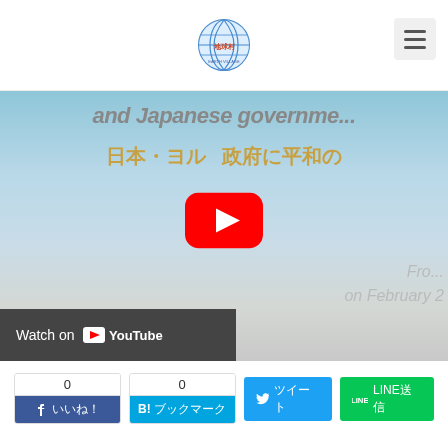Earth Village logo and menu button
[Figure (screenshot): YouTube embedded video thumbnail showing text 'and Japanese governme...' and '日本・ヨル...政府に平和の...' with YouTube play button overlay, 'Watch on YouTube' bar, and partial text 'Fro... on February 2...']
0 いいね！
0 B!ブックマーク
ツイート
LINE送信
コメント